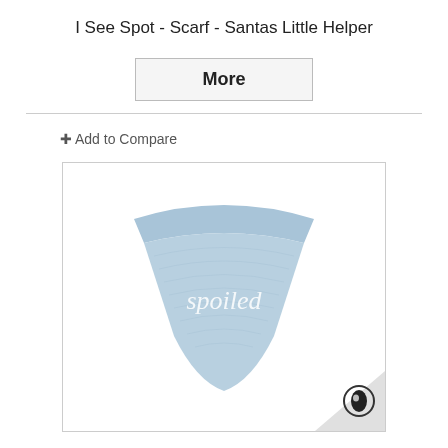I See Spot - Scarf - Santas Little Helper
More
+ Add to Compare
[Figure (photo): Product photo of a light blue bandana-style pet scarf with the word 'spoiled' embroidered in white script. The scarf is triangular/bandana shaped with a rounded neck edge at the top. A watermark logo appears in the bottom-right corner.]